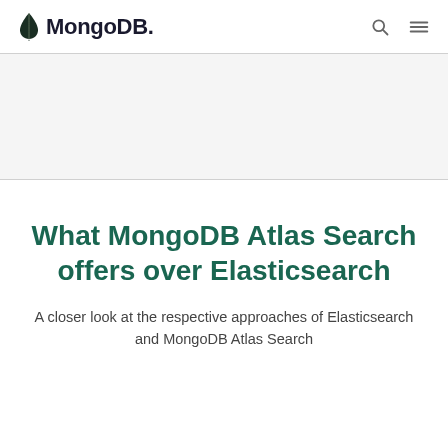MongoDB
[Figure (other): Gray banner/advertisement area]
What MongoDB Atlas Search offers over Elasticsearch
A closer look at the respective approaches of Elasticsearch and MongoDB Atlas Search